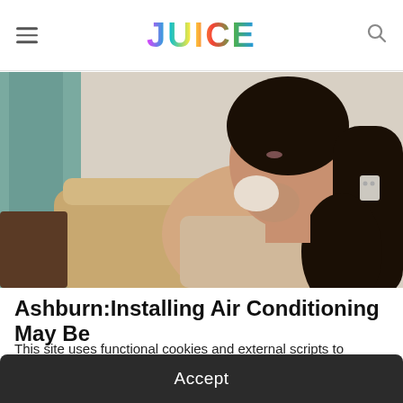JUICE
[Figure (photo): Woman sitting on a couch holding a cloth or tissue to her jaw/neck area, appearing to be in discomfort, with eyes closed. Indoor setting with soft lighting.]
Ashburn:Installing Air Conditioning May Be
This site uses functional cookies and external scripts to improve your experience.
Accept